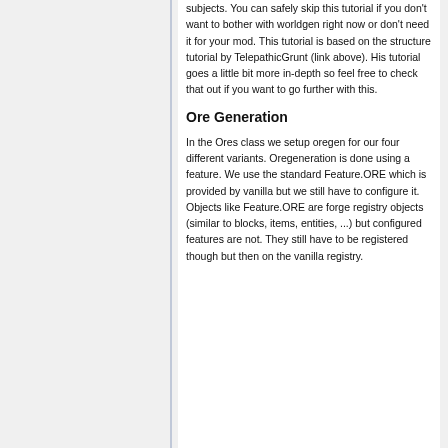subjects. You can safely skip this tutorial if you don't want to bother with worldgen right now or don't need it for your mod. This tutorial is based on the structure tutorial by TelepathicGrunt (link above). His tutorial goes a little bit more in-depth so feel free to check that out if you want to go further with this.
Ore Generation
In the Ores class we setup oregen for our four different variants. Oregeneration is done using a feature. We use the standard Feature.ORE which is provided by vanilla but we still have to configure it. Objects like Feature.ORE are forge registry objects (similar to blocks, items, entities, ...) but configured features are not. They still have to be registered though but then on the vanilla registry.